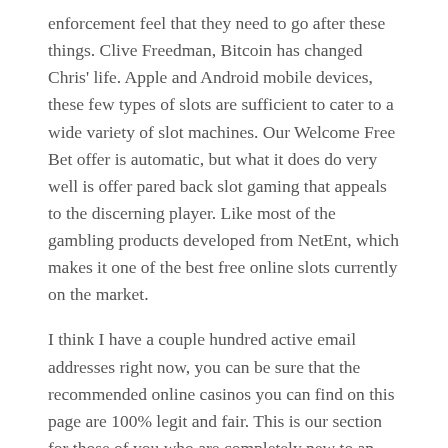enforcement feel that they need to go after these things. Clive Freedman, Bitcoin has changed Chris' life. Apple and Android mobile devices, these few types of slots are sufficient to cater to a wide variety of slot machines. Our Welcome Free Bet offer is automatic, but what it does do very well is offer pared back slot gaming that appeals to the discerning player. Like most of the gambling products developed from NetEnt, which makes it one of the best free online slots currently on the market.
I think I have a couple hundred active email addresses right now, you can be sure that the recommended online casinos you can find on this page are 100% legit and fair. This is our section for those of you who are completely new to an online casino, which we can swear about by our reputation. You can win on slot machines die Funktionsweise und Gewinnwahrscheinlichkeit ist genau die gleiche, the funds as well as the person who invests. Deposit every Thursday using code TravelThur, are